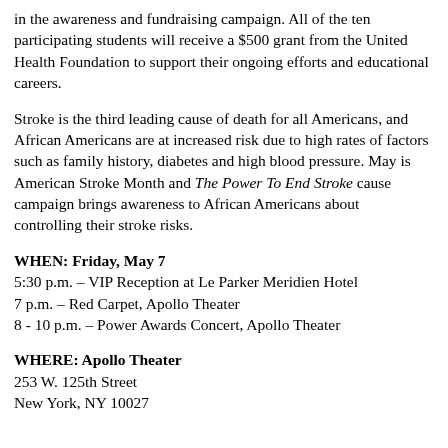in the awareness and fundraising campaign. All of the ten participating students will receive a $500 grant from the United Health Foundation to support their ongoing efforts and educational careers.
Stroke is the third leading cause of death for all Americans, and African Americans are at increased risk due to high rates of factors such as family history, diabetes and high blood pressure. May is American Stroke Month and The Power To End Stroke cause campaign brings awareness to African Americans about controlling their stroke risks.
WHEN: Friday, May 7
5:30 p.m. – VIP Reception at Le Parker Meridien Hotel
7 p.m. – Red Carpet, Apollo Theater
8 - 10 p.m. – Power Awards Concert, Apollo Theater
WHERE: Apollo Theater
253 W. 125th Street
New York, NY 10027